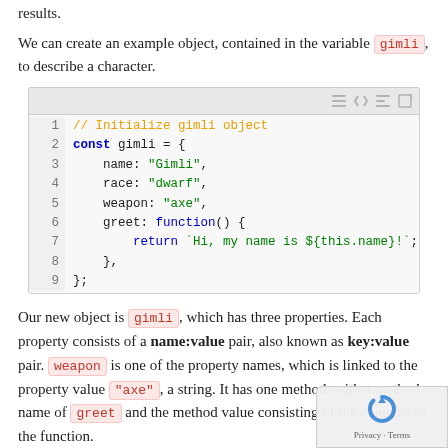results.
We can create an example object, contained in the variable gimli, to describe a character.
[Figure (screenshot): JavaScript code block showing initialization of a gimli object with name, race, weapon properties and a greet method using template literals.]
Our new object is gimli, which has three properties. Each property consists of a name:value pair, also known as key:value pair. weapon is one of the property names, which is linked to the property value "axe", a string. It has one method, with a method name of greet and the method value consisting of the contents of the function.
Within greet, you may notice the this keyword. When using this inside of an object, it refers to the current